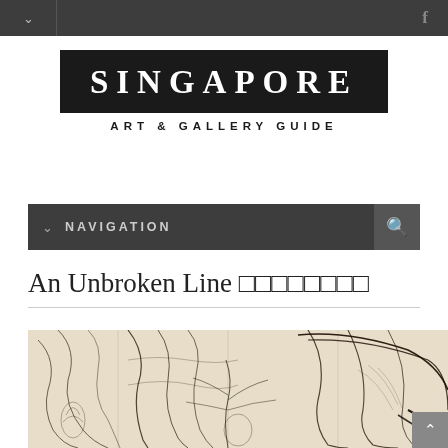Singapore Art & Gallery Guide - navigation header
[Figure (logo): Singapore Art & Gallery Guide logo: black rectangle with SINGAPORE in white bold serif letters, subtitle ART & GALLERY GUIDE below in dark spaced capitals]
NAVIGATION
An Unbroken Line 一一一一一一一一
[Figure (illustration): Pencil sketch / line drawing on cream/beige paper showing draped fabric or curtains with tropical plant elements, detailed architectural and organic forms in graphite]